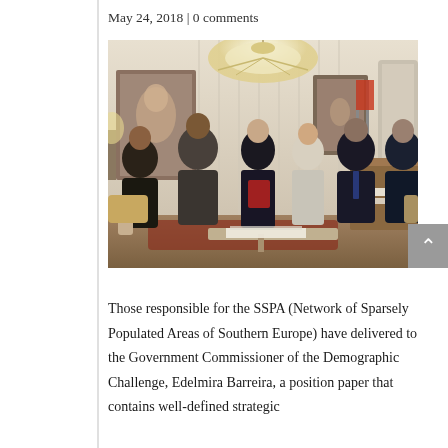May 24, 2018 | 0 comments
[Figure (photo): Group photo of six people (four men and two women) standing in an ornate official room with chandelier, paintings, and flags. One woman is holding a red document/book.]
Those responsible for the SSPA (Network of Sparsely Populated Areas of Southern Europe) have delivered to the Government Commissioner of the Demographic Challenge, Edelmira Barreira, a position paper that contains well-defined strategic